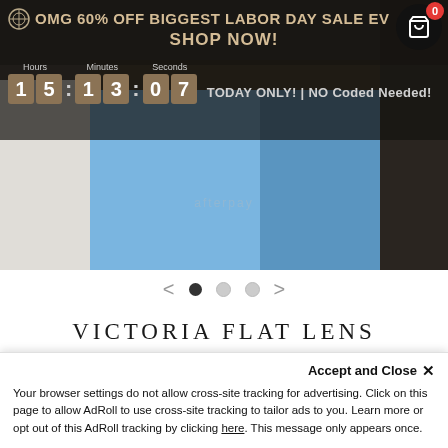[Figure (screenshot): E-commerce banner showing jeans photo background with sale promotion text overlay, countdown timer showing 15:13:07, and shopping cart icon with badge showing 0]
OMG 60% OFF BIGGEST LABOR DAY SALE EVER SHOP NOW!
TODAY ONLY! | NO Coded Needed!
Hours: 15 Minutes: 13 Seconds: 07
[Figure (screenshot): Slider navigation with left arrow, three dots (first filled), right arrow]
VICTORIA FLAT LENS SUNGLASSES
☆☆☆☆☆ Write a review
Accept and Close ✕ Your browser settings do not allow cross-site tracking for advertising. Click on this page to allow AdRoll to use cross-site tracking to tailor ads to you. Learn more or opt out of this AdRoll tracking by clicking here. This message only appears once.